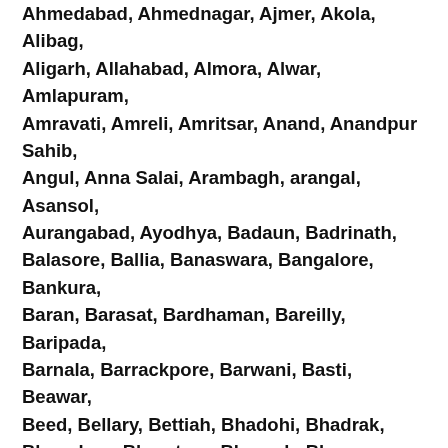Ahmedabad, Ahmednagar, Ajmer, Akola, Alibag, Aligarh, Allahabad, Almora, Alwar, Amlapuram, Amravati, Amreli, Amritsar, Anand, Anandpur Sahib, Angul, Anna Salai, Arambagh, arangal, Asansol, Aurangabad, Ayodhya, Badaun, Badrinath, Balasore, Ballia, Banaswara, Bangalore, Bankura, Baran, Barasat, Bardhaman, Bareilly, Baripada, Barnala, Barrackpore, Barwani, Basti, Beawar, Beed, Bellary, Bettiah, Bhadohi, Bhadrak, Bhagalpur, Bharatpur, Bharuch, Bhavnagar, Bhilai, Bhilwara, Bhind, Bhiwani, Bhopal, Bhubaneshwar, Bhuj, Bidar, Bijapur, Bijnor, Bikaner, Bilaspur, Bilimora, Bodh Gaya, Bokaro, Bundi, Burhanpur, Buxur, Calangute, Chamba, Chandauli, Chandigarh, Chandrapur, Chennai, Chhapra, Chhindwara, Chidambaram, Chiplun, Chitradurga, Chittaurgarh, Chittoor, Churu, Coimbatore, Cooch Behar,